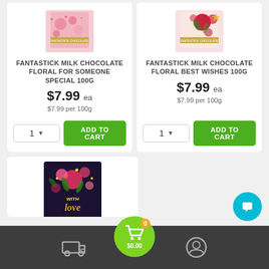[Figure (photo): Fantastick Milk Chocolate Floral For Someone Special 100G product image - pink/rose themed chocolate bar packaging]
FANTASTICK MILK CHOCOLATE FLORAL FOR SOMEONE SPECIAL 100G
$7.99 ea
$7.99 per 100g
[Figure (photo): Fantastick Milk Chocolate Floral Best Wishes 100G product image - red floral chocolate bar packaging]
FANTASTICK MILK CHOCOLATE FLORAL BEST WISHES 100G
$7.99 ea
$7.99 per 100g
[Figure (photo): Chocolate bar with dark background and colorful floral design with 'With Love' gold text]
[Figure (screenshot): Bottom navigation bar with delivery truck icon, cart bubble showing 0 items and $0.00, and user profile icon. Chat bubble button in bottom right.]